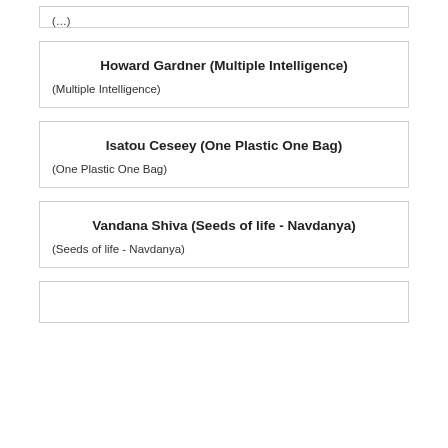(…entry)
Howard Gardner (Multiple Intelligence)
(Multiple Intelligence)
Isatou Ceseey (One Plastic One Bag)
(One Plastic One Bag)
Vandana Shiva (Seeds of life - Navdanya)
(Seeds of life - Navdanya)